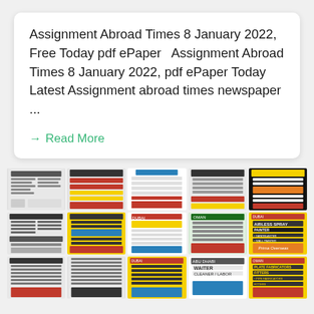Assignment Abroad Times 8 January 2022, Free Today pdf ePaper   Assignment Abroad Times 8 January 2022, pdf ePaper Today Latest Assignment abroad times newspaper ...
→ Read More
[Figure (other): Grid of newspaper classified advertisement thumbnails from Assignment Abroad Times, showing job listings in black-and-white and color (yellow, red, orange) for various positions in Dubai, Oman, Abu Dhabi, and other Gulf countries.]